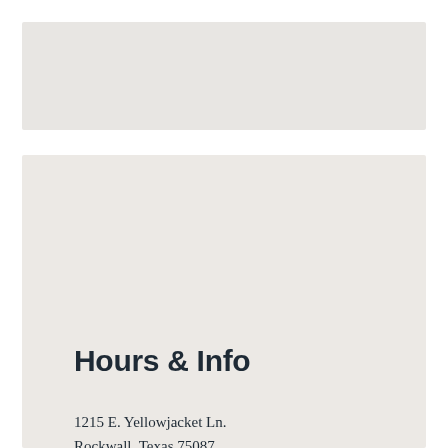[Figure (other): Gray rectangular image/map placeholder block at top of page]
Hours & Info
1215 E. Yellowjacket Ln.
Rockwall, Texas 75087
(972) 204-7700
RockLib@RockwallCountyTexas.com
Monday: 10 AM-6 PM
Tuesday: 10 AM-8 PM
Wednesday: 10 AM-6 PM
Thursday: 10 AM-8 PM
Friday: 10 AM-5 PM